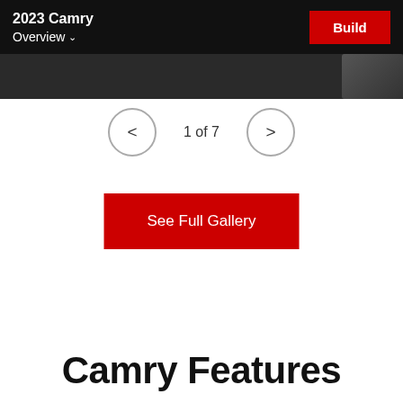2023 Camry
Overview ▾
1 of 7
See Full Gallery
Camry Features